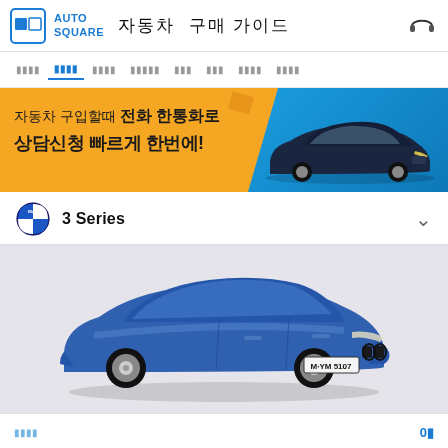AUTO SQUARE 자동차 구매 가이드
[Figure (screenshot): Navigation menu bar with Korean tab labels, second tab active in blue]
[Figure (infographic): Orange and blue promotional banner: 자동차 구입할때 전화 한통화로 상담신청 빠르게 한번에! with a dark sedan car on the right]
3 Series
[Figure (photo): Blue BMW 3 Series sedan on light grey background, license plate M·YM 5107]
□□□□  0□